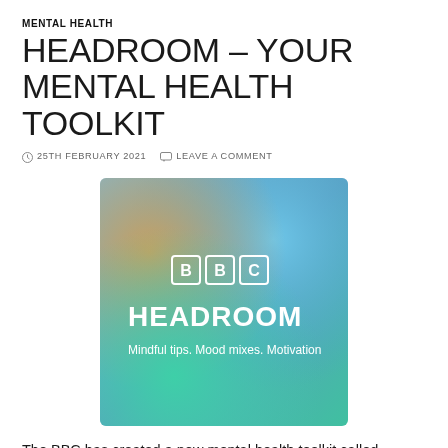MENTAL HEALTH
HEADROOM – YOUR MENTAL HEALTH TOOLKIT
25TH FEBRUARY 2021   LEAVE A COMMENT
[Figure (photo): BBC Headroom logo on a colorful gradient background (blue, teal, orange). Text reads: BBC HEADROOM. Mindful tips. Mood mixes. Motivation.]
The BBC has created a new mental health toolkit called Headroom. It provides everyday tips, sounds to relax your